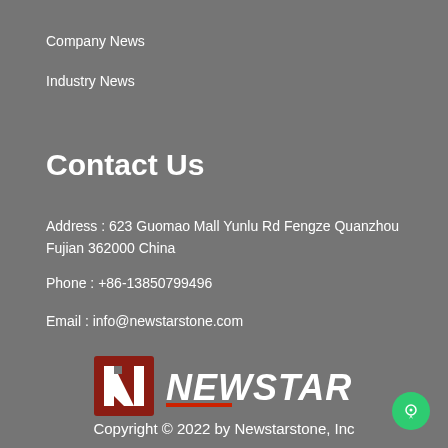Company News
Industry News
Contact Us
Address : 623 Guomao Mall Yunlu Rd Fengze Quanzhou Fujian 362000 China
Phone : +86-13850799496
Email : info@newstarstone.com
[Figure (logo): Newstar company logo with red square icon and NEWSTAR text in bold italic]
Copyright © 2022 by Newstarstone, Inc